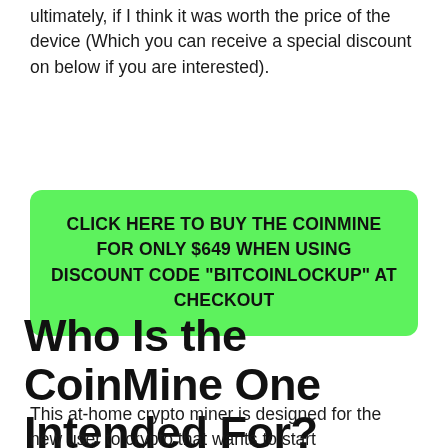ultimately, if I think it was worth the price of the device (Which you can receive a special discount on below if you are interested).
CLICK HERE TO BUY THE COINMINE FOR ONLY $649 WHEN USING DISCOUNT CODE "BITCOINLOCKUP" AT CHECKOUT
Who Is the CoinMine One Intended For?
This at-home crypto miner is designed for the new user to crypto that wants to start